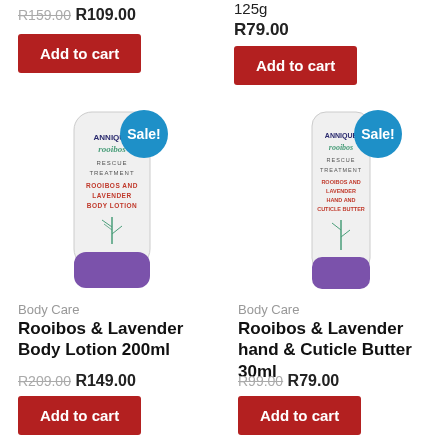R159.00 R109.00
Add to cart
125g
R79.00
Add to cart
[Figure (photo): Annique Rooibos Rescue Treatment Rooibos and Lavender Body Lotion tube with purple cap, Sale badge]
[Figure (photo): Annique Rooibos Rescue Treatment Rooibos and Lavender Hand and Cuticle Butter tube with purple cap, Sale badge]
Body Care
Rooibos & Lavender Body Lotion 200ml
R209.00 R149.00
Add to cart
Body Care
Rooibos & Lavender hand & Cuticle Butter 30ml
R99.00 R79.00
Add to cart